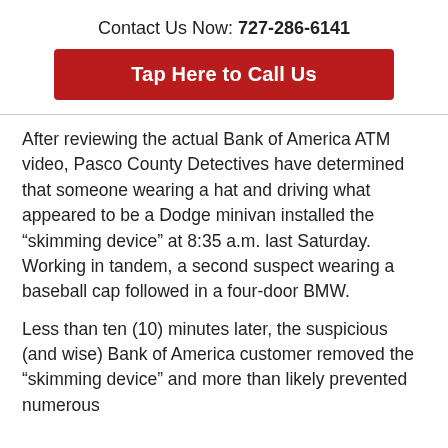Contact Us Now: 727-286-6141
[Figure (other): Red button labeled 'Tap Here to Call Us']
After reviewing the actual Bank of America ATM video, Pasco County Detectives have determined that someone wearing a hat and driving what appeared to be a Dodge minivan installed the “skimming device” at 8:35 a.m. last Saturday. Working in tandem, a second suspect wearing a baseball cap followed in a four-door BMW.
Less than ten (10) minutes later, the suspicious (and wise) Bank of America customer removed the “skimming device” and more than likely prevented numerous